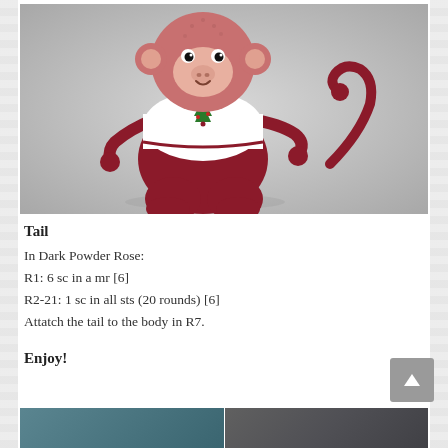[Figure (photo): A crocheted amigurumi monkey toy in dark red/burgundy color with a pink face, wearing a white sweater with a small Christmas tree emblem. The monkey is sitting and has a curled tail. Background is light gray.]
Tail
In Dark Powder Rose:
R1: 6 sc in a mr [6]
R2-21: 1 sc in all sts (20 rounds) [6]
Attatch the tail to the body in R7.
Enjoy!
[Figure (photo): Two partial photos at the bottom of the page: left shows a blue-toned crocheted item, right shows a dark gray crocheted item.]